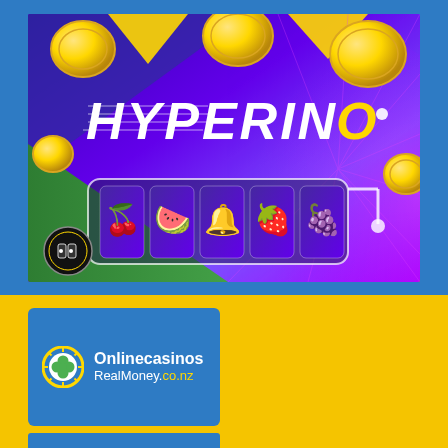[Figure (illustration): Hyperino Casino promotional banner with slot machine showing fruit symbols (cherry, watermelon, bell, strawberry, grapes), golden coins falling, purple/blue/green gradient background, and HYPERINO logo text in white italic with gold O]
[Figure (logo): OnlinecasinosRealMoney.co.nz logo on blue background card. Shows a circular shamrock/clover icon with gold border and white text 'Onlinecasinos' in bold, 'RealMoney.co.nz' below with .co.nz in gold/yellow color]
[Figure (illustration): Partial blue card visible at bottom of page, likely another logo or content block]